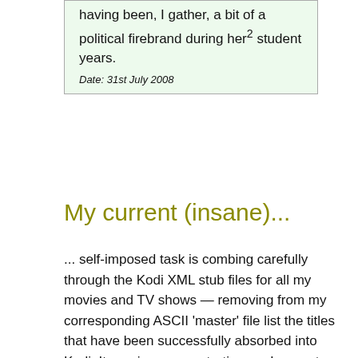having been, I gather, a bit of a political firebrand during her² student years.
Date: 31st July 2008
My current (insane)...
... self-imposed task is combing carefully through the Kodi XML stub files for all my movies and TV shows — removing from my corresponding ASCII 'master' file list the titles that have been successfully absorbed into Kodi. It requires concentration, so I am not racing to complete the task. But what remains in my file list when I've finished will need, by definition, custom handling. The Kodi wiki page on